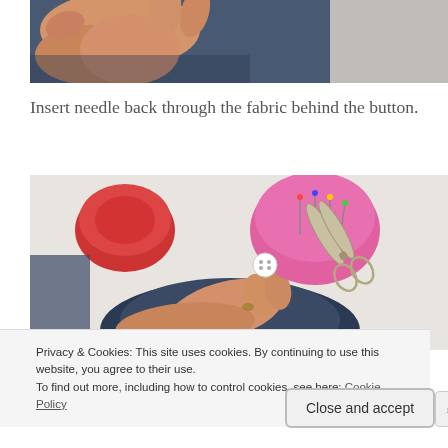[Figure (photo): Close-up of hands sewing a button onto dark blue fabric]
Insert needle back through the fabric behind the button.
[Figure (photo): Overhead view of hands sewing a button onto dark blue denim fabric on a white table, with a pink pin cushion, a red tin, and scissors visible nearby]
Privacy & Cookies: This site uses cookies. By continuing to use this website, you agree to their use.
To find out more, including how to control cookies, see here: Cookie Policy
Close and accept